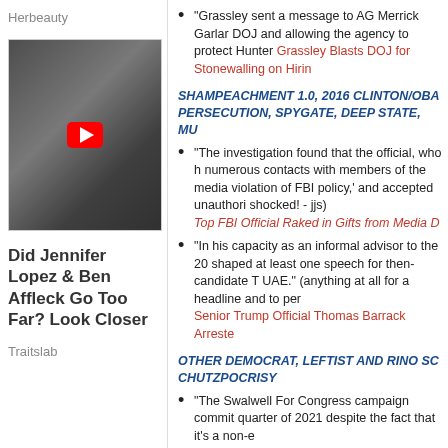Herbeauty
[Figure (photo): Thumbnail image of two people with a YouTube play button overlay]
Did Jennifer Lopez & Ben Affleck Go Too Far? Look Closer
Traitslab
"Grassley sent a message to AG Merrick Garland... DOJ and allowing the agency to protect Hunter... Grassley Blasts DOJ for Stonewalling on Hiring..."
SHAMPEACHMENT 1.0, 2016 CLINTON/OBA... PERSECUTION, SPYGATE, DEEP STATE, MU...
"The investigation found that the official, who h... numerous contacts with members of the media... violation of FBI policy,' and accepted unauthori... shocked! - jjs) Top FBI Official Raked in Gifts from Media D..."
"In his capacity as an informal advisor to the 20... shaped at least one speech for then-candidate T... UAE." (anything at all for a headline and to per... Senior Trump Official Thomas Barrack Arreste...
OTHER DEMOCRAT, LEFTIST AND RINO SC... CHUTZPOCRISY
"The Swalwell For Congress campaign commit... quarter of 2021 despite the fact that it's a non-e... Smarmy, Degenerate Criminal Swalwell Spent... Alcohol, Limos, Fancy Restaurants and Luxury..."
"Qatar Foundation spends hundreds of millions... colleges." Fart-in-a-Phone-Booth Fang-Banger Swalwell F... Terrorist Groups
POLITICS